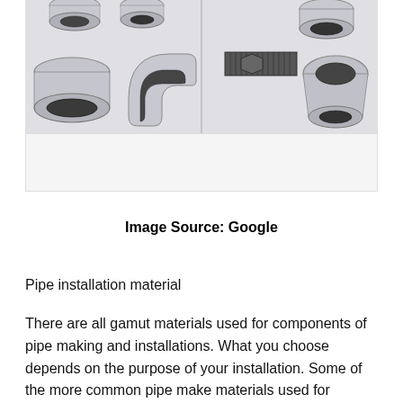[Figure (photo): Assorted galvanized steel pipe fittings including couplings, elbows, a nipple with threaded ends, and reducers arranged on a white background, shown in two side-by-side panels.]
Image Source: Google
Pipe installation material
There are all gamut materials used for components of pipe making and installations. What you choose depends on the purpose of your installation. Some of the more common pipe make materials used for